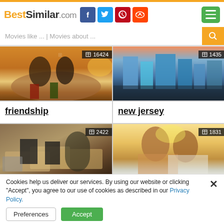BestSimilar.com
Movies like ... | Movies about ...
[Figure (photo): Two children standing on a beach at sunset, viewed from behind, with arms around each other. Badge shows 16424.]
[Figure (photo): City skyline of New Jersey with modern skyscrapers and waterfront at dusk. Badge shows 1435.]
friendship
new jersey
[Figure (photo): Office workspace with desks, computers, chairs and cubicles. Badge shows 2422.]
[Figure (photo): Two men outdoors in winter light, smiling, one with arm around other. Badge shows 1831.]
Cookies help us deliver our services. By using our website or clicking "Accept", you agree to our use of cookies as described in our Privacy Policy.
Preferences
Accept